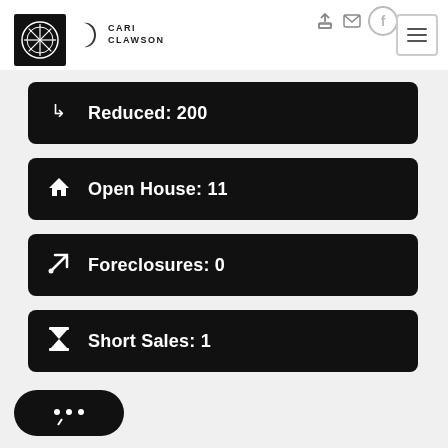[Figure (logo): Black square logo with geometric circular pattern and Cari Clawson brand text with crescent moon symbol]
Reduced: 200
Open House: 11
Foreclosures: 0
Short Sales: 1